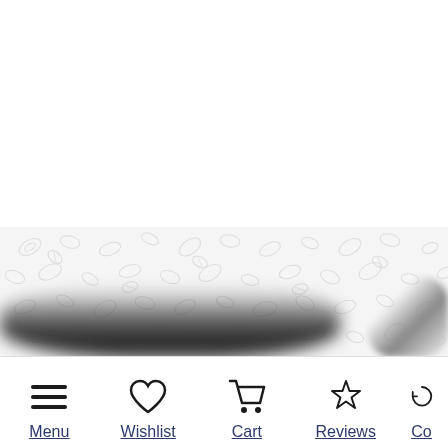[Figure (screenshot): E-commerce product page screenshot showing top portion with product image area featuring a light leaf/floral watermark pattern background and blurred dark product at bottom. Bottom navigation bar with Menu, Wishlist, Cart, Reviews, and partially visible fifth item icons.]
Menu
Wishlist
Cart
Reviews